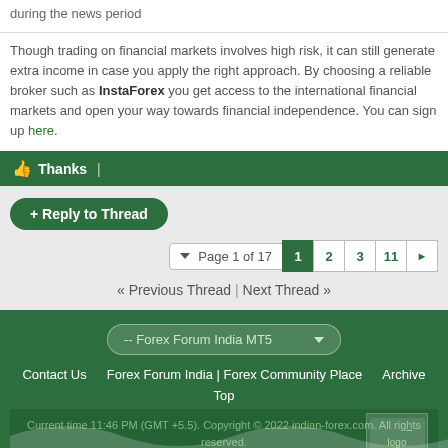during the news period
Though trading on financial markets involves high risk, it can still generate extra income in case you apply the right approach. By choosing a reliable broker such as InstaForex you get access to the international financial markets and open your way towards financial independence. You can sign up here.
Thanks |
+ Reply to Thread
Page 1 of 17  1  2  3  11  ▶
« Previous Thread | Next Thread »
-- Forex Forum India MT5
Contact Us   Forex Forum India | Forex Community Place   Archive
Top
Current time 11:46 PM (GMT +5.5). Copyright © 2022 indian-forex.com. All rights reserved.